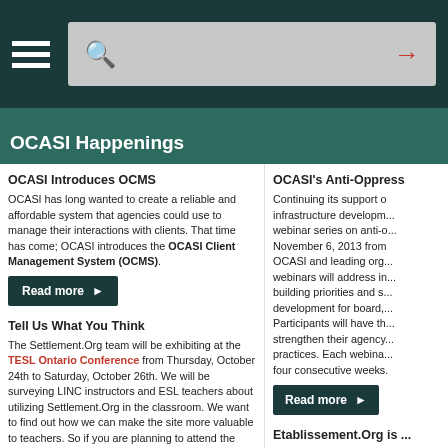OCASI Happenings
OCASI Introduces OCMS
OCASI has long wanted to create a reliable and affordable system that agencies could use to manage their interactions with clients. That time has come; OCASI introduces the OCASI Client Management System (OCMS).
Tell Us What You Think
The Settlement.Org team will be exhibiting at the TESL Ontario Conference from Thursday, October 24th to Saturday, October 26th. We will be surveying LINC instructors and ESL teachers about utilizing Settlement.Org in the classroom. We want to find out how we can make the site more valuable to teachers. So if you are planning to attend the conference we invite you to stop by and share your thoughts. We will be at booth number 13! For more information contact Ann-Marie McGregor.
OCASI's Anti-Oppress...
Continuing its support of infrastructure development, webinar series on anti-o... November 6, 2013 from OCASI and leading org... webinars will address in... building priorities and s... development for board,... Participants will have th... strengthen their agency... practices. Each webina... four consecutive weeks.
Etablissement.Org is ...
OCASI is pleased to a...